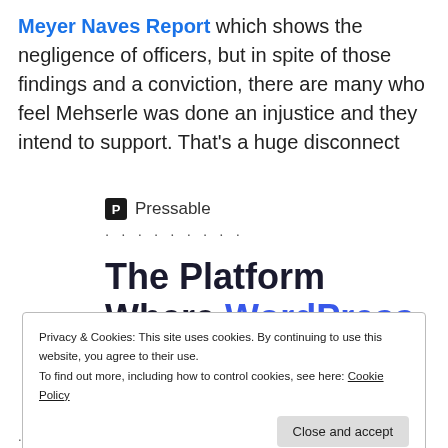Meyer Naves Report which shows the negligence of officers, but in spite of those findings and a conviction, there are many who feel Mehserle was done an injustice and they intend to support. That's a huge disconnect
[Figure (logo): Pressable logo with icon and dotted separator]
The Platform Where WordPress Works Best
Privacy & Cookies: This site uses cookies. By continuing to use this website, you agree to their use. To find out more, including how to control cookies, see here: Cookie Policy
Close and accept